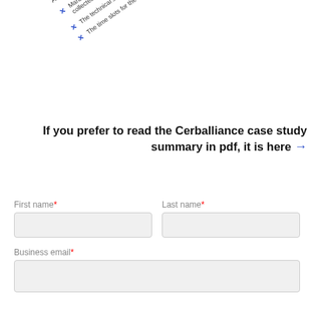patient co...
At-home blood test planning h...
Managing sample returns to the lab..., collected biological samplers,
The technical skills of the samplers,
The time slots for the sampler to come and go.
If you prefer to read the Cerballiance case study summary in pdf, it is here →
First name*
Last name*
Business email*